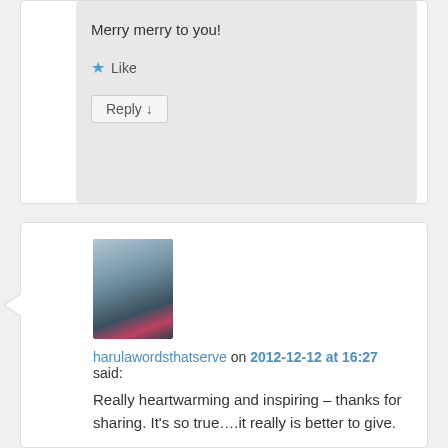Merry merry to you!
★ Like
Reply ↓
[Figure (photo): User avatar photo of a person wearing a dark hat and jacket, outdoors near water]
harulawordsthatserve on 2012-12-12 at 16:27 said:
Really heartwarming and inspiring – thanks for sharing. It's so true….it really is better to give.